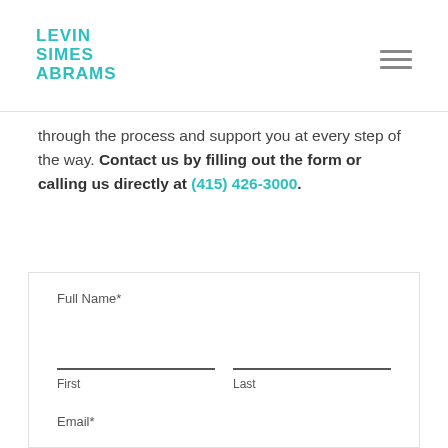LEVIN SIMES ABRAMS
through the process and support you at every step of the way. Contact us by filling out the form or calling us directly at (415) 426-3000.
Full Name*
First
Last
Email*
Phone*